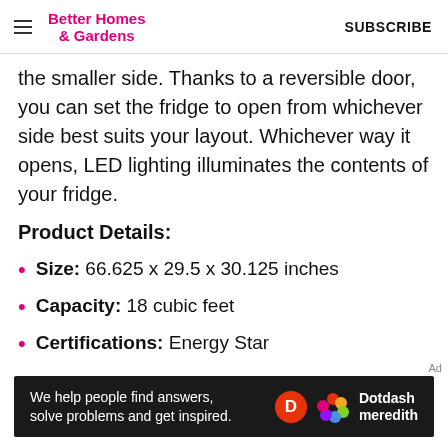Better Homes & Gardens   SUBSCRIBE
the smaller side. Thanks to a reversible door, you can set the fridge to open from whichever side best suits your layout. Whichever way it opens, LED lighting illuminates the contents of your fridge.
Product Details:
Size: 66.625 x 29.5 x 30.125 inches
Capacity: 18 cubic feet
Certifications: Energy Star
[Figure (infographic): Dotdash Meredith advertisement banner: 'We help people find answers, solve problems and get inspired.' with Dotdash Meredith logo and colorful flower icon.]